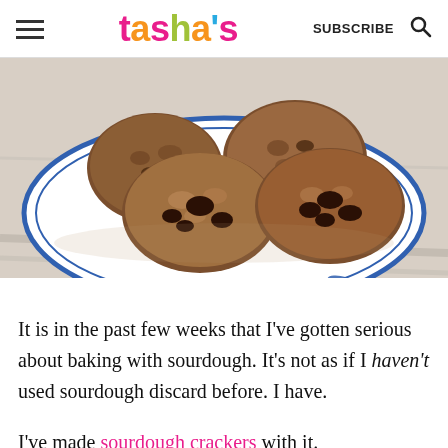tasha's — SUBSCRIBE [search icon]
[Figure (photo): Overhead close-up of oat-and-chocolate-chip cookies piled on a decorative blue-and-white plate on a white wooden surface.]
It is in the past few weeks that I've gotten serious about baking with sourdough. It's not as if I haven't used sourdough discard before. I have.
I've made sourdough crackers with it.